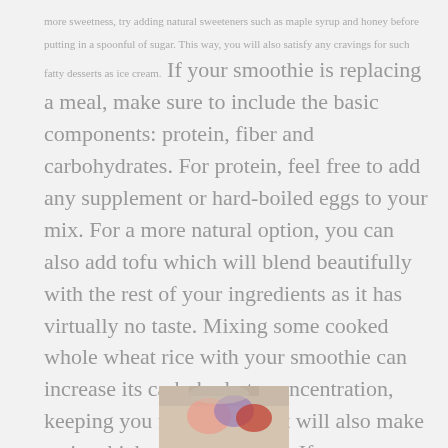more sweetness, try adding natural sweeteners such as maple syrup and honey before putting in a spoonful of sugar. This way, you will also satisfy any cravings for such fatty desserts as ice cream. If your smoothie is replacing a meal, make sure to include the basic components: protein, fiber and carbohydrates. For protein, feel free to add any supplement or hard-boiled eggs to your mix. For a more natural option, you can also add tofu which will blend beautifully with the rest of your ingredients as it has virtually no taste. Mixing some cooked whole wheat rice with your smoothie can increase its carbohydrate concentration, keeping you fuller longer. It will also make a nice thick, creamy texture. If you are looking to add texture without the supplemental carbs, flax seeds as well as chia and hemp will do just that.
[Figure (photo): A smoothie or food item in a glass/bowl, partially visible at bottom center of page]